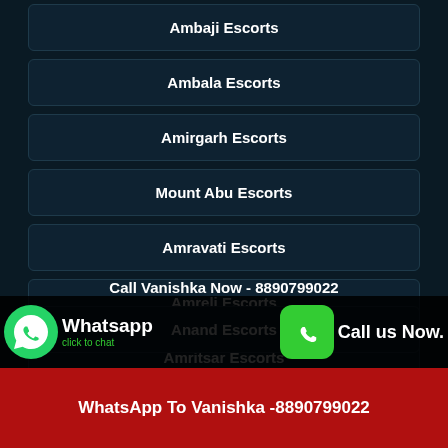Ambaji Escorts
Ambala Escorts
Amirgarh Escorts
Mount Abu Escorts
Amravati Escorts
Amreli Escorts
Amritsar Escorts
Anand Escorts
Whatsapp click to chat
Call us Now.
Call Vanishka Now - 8890799022
WhatsApp To Vanishka -8890799022